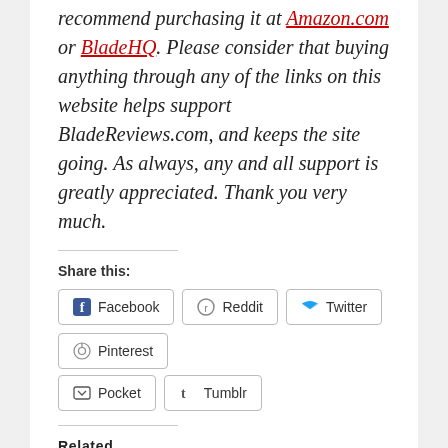recommend purchasing it at Amazon.com or BladeHQ. Please consider that buying anything through any of the links on this website helps support BladeReviews.com, and keeps the site going. As always, any and all support is greatly appreciated. Thank you very much.
Share this:
Facebook | Reddit | Twitter | Pinterest | Pocket | Tumblr
Related
Spyderco Delica 4 Review